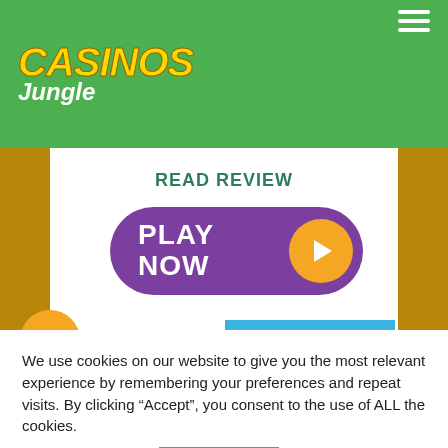Casinos Jungle
READ REVIEW
PLAY NOW
6
[Figure (photo): Cartoon fish underwater scene with colorful fish characters]
We use cookies on our website to give you the most relevant experience by remembering your preferences and repeat visits. By clicking “Accept”, you consent to the use of ALL the cookies.
Cookie settings
ACCEPT